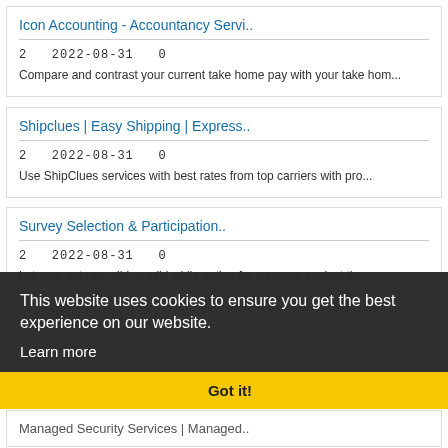Icon Accounting - Accountancy Servi..
2  2022-08-31  0
Compare and contrast your current take home pay with your take hom...
Shipclues | Easy Shipping | Express..
2  2022-08-31  0
Use ShipClues services with best rates from top carriers with pro...
Survey Selection & Participation..
2   2022-08-31  0
Let your guts go wild or mild while opting for a survey against th...
Managed Security Services | Managed..
This website uses cookies to ensure you get the best experience on our website.
Learn more
Got it!